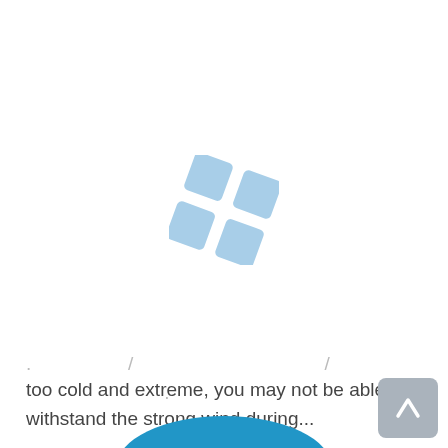[Figure (logo): A rotated four-square grid logo in light blue, resembling a windows/grid icon tilted 45 degrees]
too cold and extreme, you may not be able to withstand the strong wind during...
READ MORE
[Figure (illustration): Scroll-to-top button with upward chevron arrow, gray rounded rectangle]
[Figure (illustration): Blue arc/circle shape at bottom of page, partially visible]